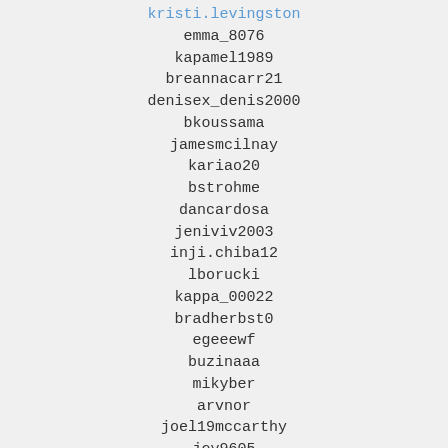kristi.levingston
emma_8076
kapamel1989
breannacarr21
denisex_denis2000
bkoussama
jamesmcilnay
kariao20
bstrohme
dancardosa
jeniviv2003
inji.chiba12
lborucki
kappa_00022
bradherbst0
egeeewf
buzinaaa
mikyber
arvnor
joel19mccarthy
joy9605
imakspsy94
madhu281182
maarq_qp